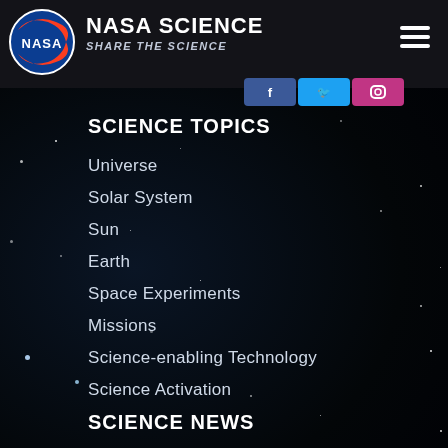NASA SCIENCE — SHARE THE SCIENCE
[Figure (logo): NASA circular logo with red swoosh and blue background]
[Figure (screenshot): Social media buttons: Facebook (blue), Twitter (cyan), Instagram (pink)]
SCIENCE TOPICS
Universe
Solar System
Sun
Earth
Space Experiments
Missions
Science-enabling Technology
Science Activation
SCIENCE NEWS